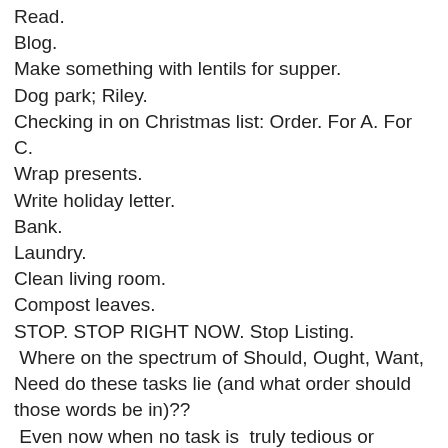Read.
Blog.
Make something with lentils for supper.
Dog park; Riley.
Checking in on Christmas list: Order. For A. For C.
Wrap presents.
Write holiday letter.
Bank.
Laundry.
Clean living room.
Compost leaves.
STOP. STOP RIGHT NOW. Stop Listing.
Where on the spectrum of Should, Ought, Want, Need do these tasks lie (and what order should those words be in)??
Even now when no task is  truly tedious or undesirable, lists start cluttering my daily path. How quickly the todos overtake the wannados.  Somehow both seem to have to do with duty and discipline. But one is duty to self, to do what one needs at the